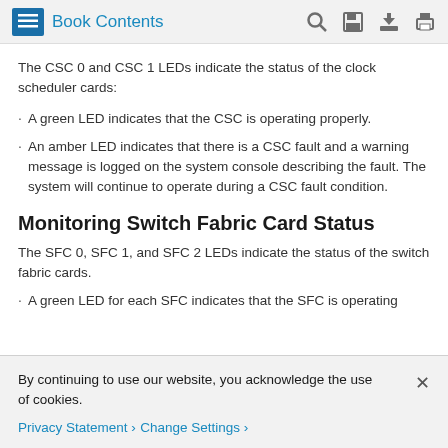Book Contents
The CSC 0 and CSC 1 LEDs indicate the status of the clock scheduler cards:
A green LED indicates that the CSC is operating properly.
An amber LED indicates that there is a CSC fault and a warning message is logged on the system console describing the fault. The system will continue to operate during a CSC fault condition.
Monitoring Switch Fabric Card Status
The SFC 0, SFC 1, and SFC 2 LEDs indicate the status of the switch fabric cards.
A green LED for each SFC indicates that the SFC is operating
By continuing to use our website, you acknowledge the use of cookies.
Privacy Statement › Change Settings ›